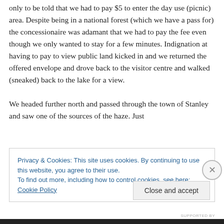only to be told that we had to pay $5 to enter the day use (picnic) area. Despite being in a national forest (which we have a pass for) the concessionaire was adamant that we had to pay the fee even though we only wanted to stay for a few minutes. Indignation at having to pay to view public land kicked in and we returned the offered envelope and drove back to the visitor centre and walked (sneaked) back to the lake for a view.

We headed further north and passed through the town of Stanley and saw one of the sources of the haze. Just
Privacy & Cookies: This site uses cookies. By continuing to use this website, you agree to their use.
To find out more, including how to control cookies, see here: Cookie Policy